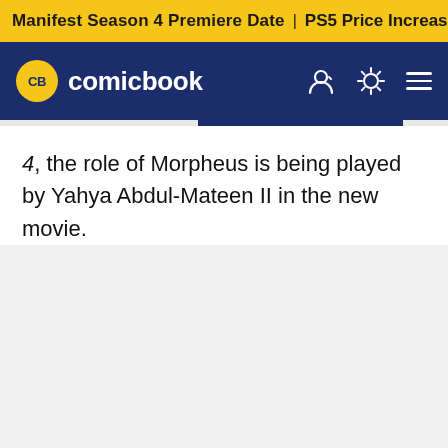Manifest Season 4 Premiere Date | PS5 Price Increase | Jon M
[Figure (screenshot): ComicBook.com navigation bar with CB logo, user icon, dark mode toggle, and hamburger menu on dark blue background]
4, the role of Morpheus is being played by Yahya Abdul-Mateen II in the new movie.